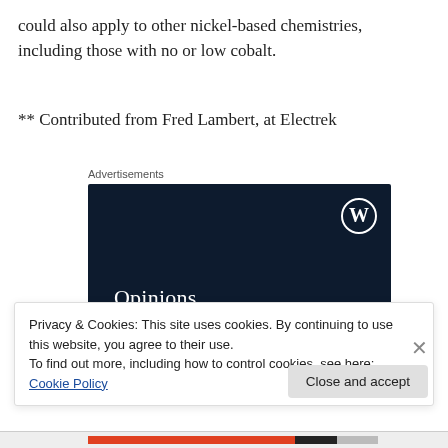could also apply to other nickel-based chemistries, including those with no or low cobalt.
** Contributed from Fred Lambert, at Electrek
Advertisements
[Figure (screenshot): Advertisement banner with dark navy background, WordPress logo (W in circle) top right, text 'Opinions.' and 'We all have them!' in white serif font.]
Privacy & Cookies: This site uses cookies. By continuing to use this website, you agree to their use.
To find out more, including how to control cookies, see here: Cookie Policy